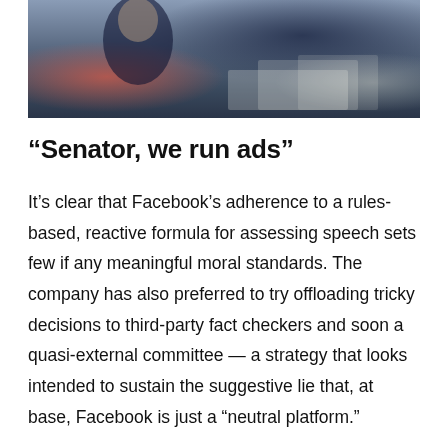[Figure (photo): Photograph of a person at a desk or hearing table with papers and documents, appears to be a congressional hearing or official setting]
“Senator, we run ads”
It’s clear that Facebook’s adherence to a rules-based, reactive formula for assessing speech sets few if any meaningful moral standards. The company has also preferred to try offloading tricky decisions to third-party fact checkers and soon a quasi-external committee — a strategy that looks intended to sustain the suggestive lie that, at base, Facebook is just a “neutral platform.”
Yet Zuckerberg’s business is the business of influence itself. He admits as much. “Senator, we run